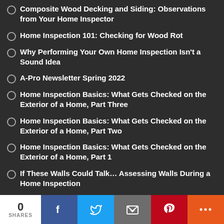Composite Wood Decking and Siding: Observations from Your Home Inspector
Home Inspection 101: Checking for Wood Rot
Why Performing Your Own Home Inspection Isn’t a Sound Idea
A-Pro Newsletter Spring 2022
Home Inspection Basics: What Gets Checked on the Exterior of a Home, Part Three
Home Inspection Basics: What Gets Checked on the Exterior of a Home, Part Two
Home Inspection Basics: What Gets Checked on the Exterior of a Home, Part 1
If These Walls Could Talk… Assessing Walls During a Home Inspection
Shedding Some Light on the “Lighting” Portion of a Home Inspection
0 SHARES | Facebook | Twitter | Email | Pinterest | More